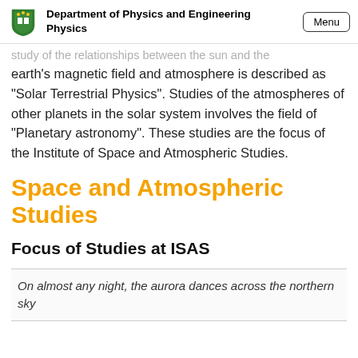Department of Physics and Engineering Physics
study of the relationships between the sun and the earth's magnetic field and atmosphere is described as "Solar Terrestrial Physics". Studies of the atmospheres of other planets in the solar system involves the field of "Planetary astronomy". These studies are the focus of the Institute of Space and Atmospheric Studies.
Space and Atmospheric Studies
Focus of Studies at ISAS
On almost any night, the aurora dances across the northern sky